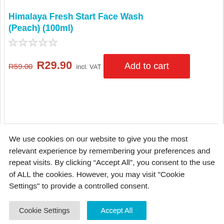Himalaya Fresh Start Face Wash (Peach) (100ml)
R59.00 R29.90 incl. VAT
Add to cart
We use cookies on our website to give you the most relevant experience by remembering your preferences and repeat visits. By clicking “Accept All”, you consent to the use of ALL the cookies. However, you may visit "Cookie Settings" to provide a controlled consent.
Cookie Settings
Accept All